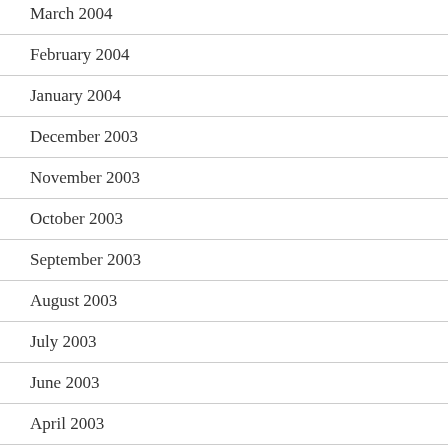March 2004
February 2004
January 2004
December 2003
November 2003
October 2003
September 2003
August 2003
July 2003
June 2003
April 2003
March 2003